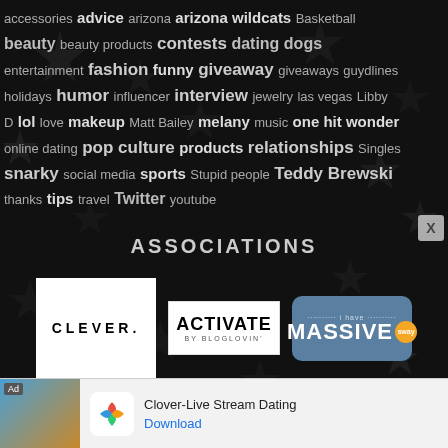[Figure (infographic): Tag cloud on dark star-patterned background with keywords: accessories, advice, arizona, arizona wildcats, Basketball, beauty, beauty products, contests, dating, dogs, entertainment, fashion, funny, giveaway, giveaways, guydlines, holidays, humor, influencer, interview, jewelry, las vegas, Libby D, lol, love, makeup, Matt Bailey, melany, music, one hit wonder, online dating, pop culture, products, relationships, Singles, snarky, social media, sports, Stupid people, Teddy Brewski, thanks, tips, travel, Twitter, youtube]
ASSOCIATIONS
[Figure (logo): CLEVER. logo on white background]
[Figure (logo): ACTIVATE BY BLOGLOVIN logo on white background]
[Figure (logo): i have MASSIVE sway logo on blue-grey rounded rectangle]
[Figure (infographic): Advertisement bar at bottom: Clover-Live Stream Dating app ad with Download link]